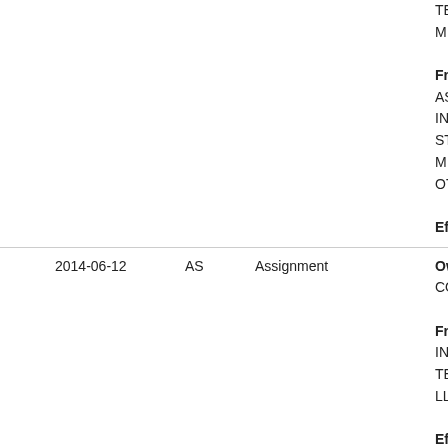| Date | Code | Type | Details |
| --- | --- | --- | --- |
|  |  |  | TECH
MICH

Free
ASSI
INTE
STEV
M.;EN
OTHE

Effec |
| 2014-06-12 | AS | Assignment | Owne
COM

Free
INTE
TECH
LLC;R

Effec |
| 2014-11-07 | AS | Assignment | Owne
TECH
MICH

Free
SECU |